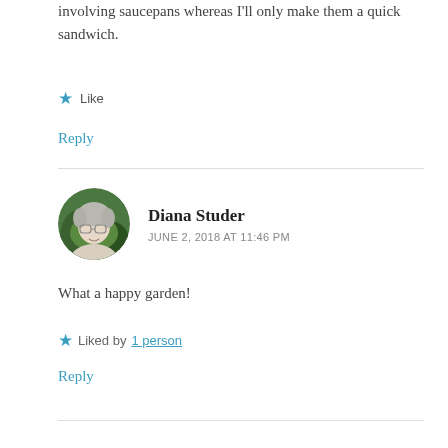involving saucepans whereas I'll only make them a quick sandwich.
★ Like
Reply
Diana Studer
JUNE 2, 2018 AT 11:46 PM
What a happy garden!
★ Liked by 1 person
Reply